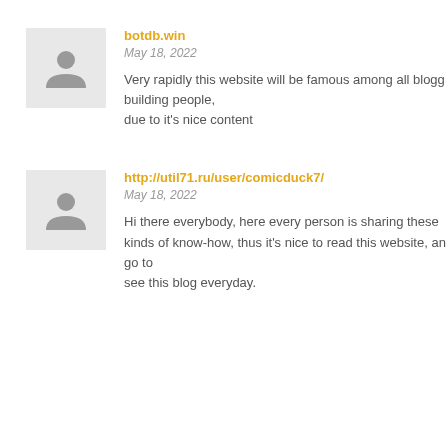[Figure (illustration): Generic user avatar icon - silhouette of a person on light gray background]
botdb.win
May 18, 2022
Very rapidly this website will be famous among all blogg building people, due to it's nice content
[Figure (illustration): Generic user avatar icon - silhouette of a person on light gray background]
http://util71.ru/user/comicduck7/
May 18, 2022
Hi there everybody, here every person is sharing these kinds of know-how, thus it's nice to read this website, an go to see this blog everyday.